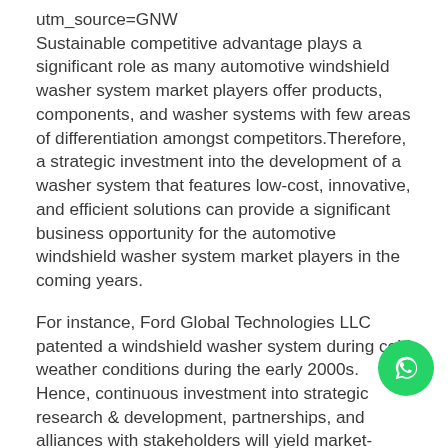utm_source=GNW
Sustainable competitive advantage plays a significant role as many automotive windshield washer system market players offer products, components, and washer systems with few areas of differentiation amongst competitors.Therefore, a strategic investment into the development of a washer system that features low-cost, innovative, and efficient solutions can provide a significant business opportunity for the automotive windshield washer system market players in the coming years.
For instance, Ford Global Technologies LLC patented a windshield washer system during cold weather conditions during the early 2000s. Hence, continuous investment into strategic research & development, partnerships, and alliances with stakeholders will yield market-disrupting